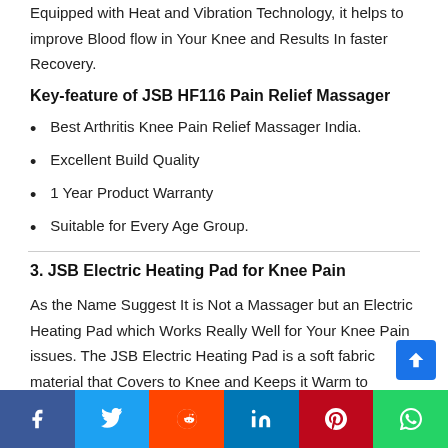Equipped with Heat and Vibration Technology, it helps to improve Blood flow in Your Knee and Results In faster Recovery.
Key-feature of JSB HF116 Pain Relief Massager
Best Arthritis Knee Pain Relief Massager India.
Excellent Build Quality
1 Year Product Warranty
Suitable for Every Age Group.
3. JSB Electric Heating Pad for Knee Pain
As the Name Suggest It is Not a Massager but an Electric Heating Pad which Works Really Well for Your Knee Pain issues. The JSB Electric Heating Pad is a soft fabric material that Covers to Knee and Keeps it Warm to Reduce Knee Pain. It is very effective for someone for is Facing Knee Pain or Shoulder Pain for Very Long Time.
Social share bar: Facebook, Twitter, Reddit, LinkedIn, Pinterest, WhatsApp